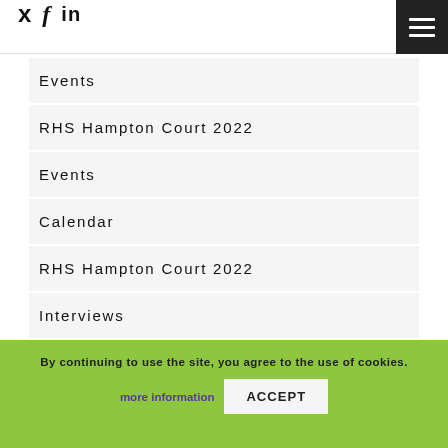Twitter Facebook LinkedIn [menu button]
Events
RHS Hampton Court 2022
Events
Calendar
RHS Hampton Court 2022
Interviews
ADVERTISEMENT
By continuing to use the site, you agree to the use of cookies.
ACCEPT